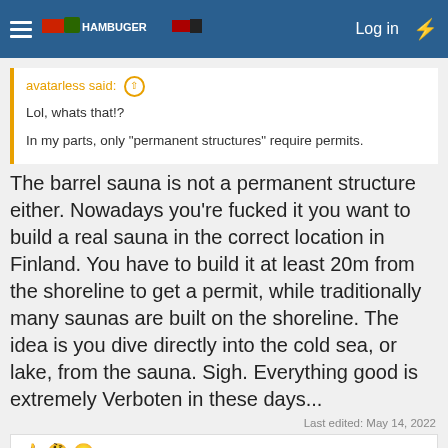Log in
avatarless said: ↑

Lol, whats that!?

In my parts, only "permanent structures" require permits.
The barrel sauna is not a permanent structure either. Nowadays you're fucked it you want to build a real sauna in the correct location in Finland. You have to build it at least 20m from the shoreline to get a permit, while traditionally many saunas are built on the shoreline. The idea is you dive directly into the cold sea, or lake, from the sauna. Sigh. Everything good is extremely Verboten in these days...
Last edited: May 14, 2022
Iconoclast, Tyrann, Herminator and 1 other person
Herminator
Well-known member  Old World Underground